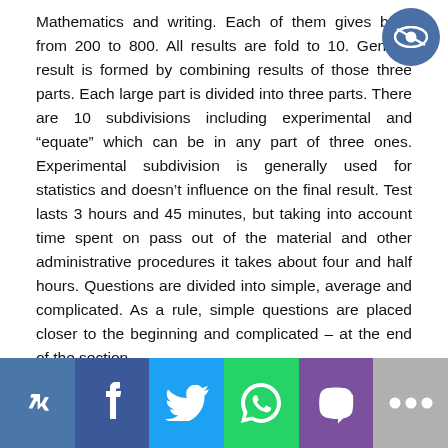Mathematics and writing. Each of them gives balls from 200 to 800. All results are fold to 10. General result is formed by combining results of those three parts. Each large part is divided into three parts. There are 10 subdivisions including experimental and "equate" which can be in any part of three ones. Experimental subdivision is generally used for statistics and doesn't influence on the final result. Test lasts 3 hours and 45 minutes, but taking into account time spent on pass out of the material and other administrative procedures it takes about four and half hours. Questions are divided into simple, average and complicated. As a rule, simple questions are placed closer to the beginning and complicated – at the end of the section.
GRE (Graduate Record Examinations) – test, which is necessary to pass to enter postgraduate studies, MS'C course or other pre-postgraduate course to universities of the USA and a number of other countries (including – Canada and Australia).
There are two types of the examinations. General test and subject tests: Physics, Chemistry, Mathematics, Biology
[Figure (infographic): Social sharing bar with VK, Facebook, Twitter, WhatsApp, Viber, and more (...) buttons]